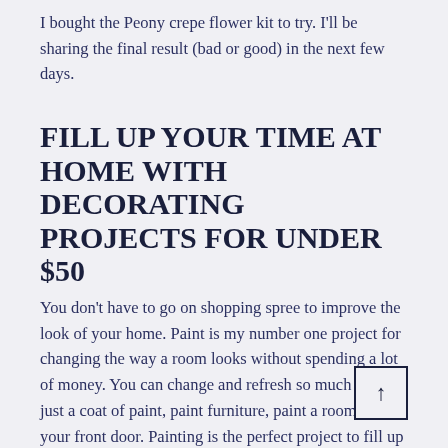I bought the Peony crepe flower kit to try. I'll be sharing the final result (bad or good) in the next few days.
FILL UP YOUR TIME AT HOME WITH DECORATING PROJECTS FOR UNDER $50
You don't have to go on shopping spree to improve the look of your home. Paint is my number one project for changing the way a room looks without spending a lot of money. You can change and refresh so much with just a coat of paint, paint furniture, paint a room, paint your front door. Painting is the perfect project to fill up time.
[Figure (other): Scroll-to-top button with an upward arrow inside a square border]